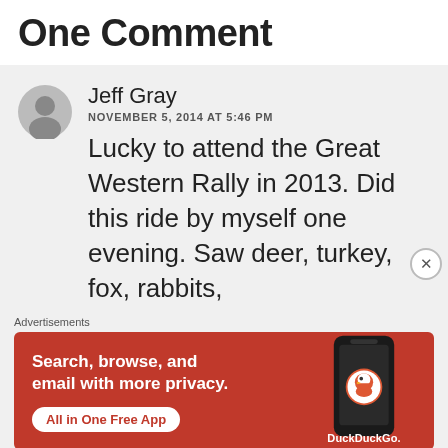One Comment
Jeff Gray
NOVEMBER 5, 2014 AT 5:46 PM
Lucky to attend the Great Western Rally in 2013. Did this ride by myself one evening. Saw deer, turkey, fox, rabbits,
Advertisements
[Figure (infographic): DuckDuckGo advertisement banner with orange/red background. Text reads: Search, browse, and email with more privacy. All in One Free App. Shows a phone with DuckDuckGo logo.]